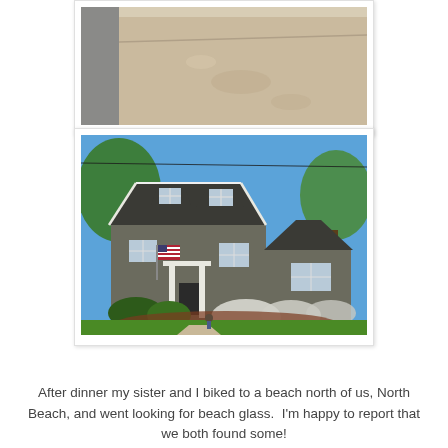[Figure (photo): Partial view of a concrete driveway or pavement surface, cropped at the top of the page]
[Figure (photo): A craftsman-style house with dark gray siding, white trim, dormer windows, front porch with columns, American flag displayed, white flowering shrubs in front, green lawn, clear blue sky]
After dinner my sister and I biked to a beach north of us, North Beach, and went looking for beach glass.  I'm happy to report that we both found some!